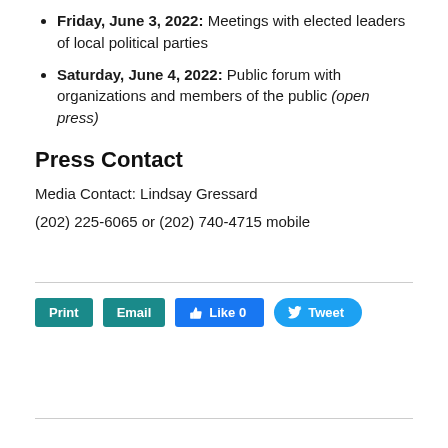Friday, June 3, 2022: Meetings with elected leaders of local political parties
Saturday, June 4, 2022: Public forum with organizations and members of the public (open press)
Press Contact
Media Contact: Lindsay Gressard
(202) 225-6065 or (202) 740-4715 mobile
[Figure (other): Social sharing buttons: Print, Email, Like 0 (Facebook), Tweet (Twitter)]